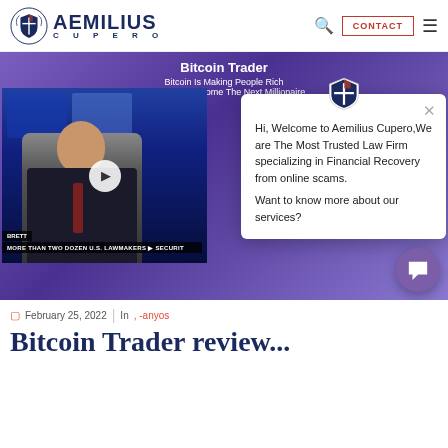Aemilius Cupero — CONTACT
[Figure (screenshot): Bitcoin Trader promotional video thumbnail showing a news anchor, with overlay text 'Bitcoin Trader - Bitcoin Is Making People Rich And You Can Become The Next Millionaire...' on a purple background]
[Figure (screenshot): Chat popup widget from Aemilius Cupero law firm with shield logo, close button, and text: 'Hi, Welcome to Aemilius Cupero,We are The Most Trusted Law Firm specializing in Financial Recovery from online scams. Want to know more about our services?']
February 25, 2022  |  In  , -anyos
Bitcoin Trader review...